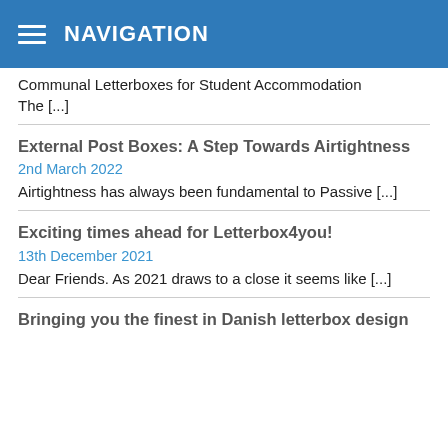NAVIGATION
Communal Letterboxes for Student Accommodation
The [...]
External Post Boxes: A Step Towards Airtightness
2nd March 2022
Airtightness has always been fundamental to Passive [...]
Exciting times ahead for Letterbox4you!
13th December 2021
Dear Friends. As 2021 draws to a close it seems like [...]
Bringing you the finest in Danish letterbox design